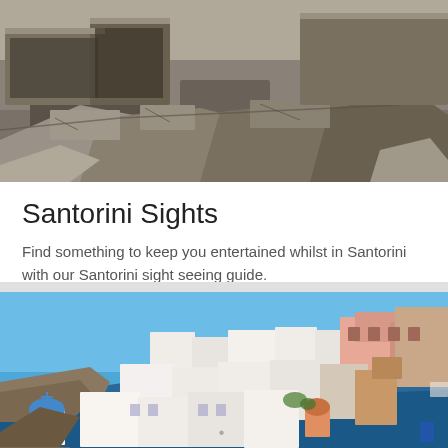[Figure (photo): Ancient stone ruins with large grey rocks and stone walls, archaeological site in Santorini]
Santorini Sights
Find something to keep you entertained whilst in Santorini with our Santorini sight seeing guide.
[Figure (photo): Colorful view of Santorini town with white, pink, and beige buildings cascading down the caldera cliff, blue domed church visible, bright blue sky and sea in background]